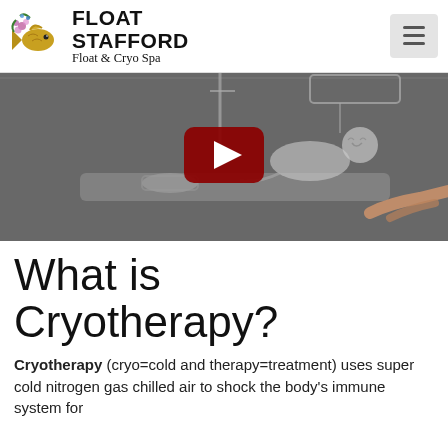FLOAT STAFFORD Float & Cryo Spa
[Figure (screenshot): Video thumbnail showing an animated sketch of a person lying on a treatment table with a hand drawing the scene. A YouTube-style red play button is centered on the image.]
What is Cryotherapy?
Cryotherapy (cryo=cold and therapy=treatment) uses super cold nitrogen gas chilled air to shock the body's immune system for